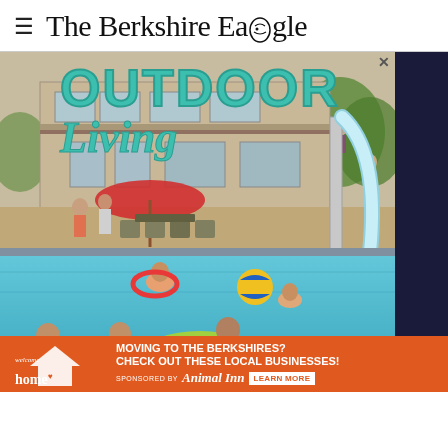≡ The Berkshire Eagle
[Figure (photo): Outdoor Living magazine cover image showing a backyard pool scene with people swimming, a water slide, a red umbrella, patio furniture, and a house in the background. 'OUTDOOR Living' text overlay in teal/green lettering.]
[Figure (infographic): Orange advertisement banner: 'MOVING TO THE BERKSHIRES? CHECK OUT THESE LOCAL BUSINESSES! SPONSORED BY Animal Inn LEARN MORE' with Welcome Home logo on the left.]